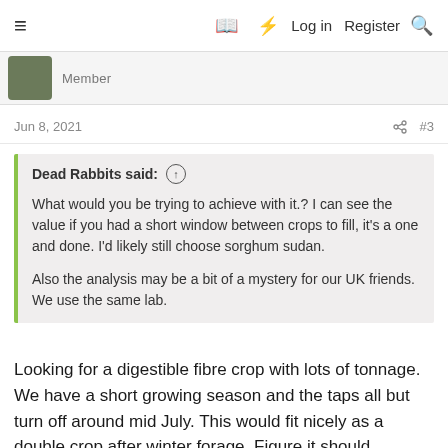≡  🔖  ⚡  Log in  Register  🔍
Member
Jun 8, 2021  #3
Dead Rabbits said: ↑

What would you be trying to achieve with it.? I can see the value if you had a short window between crops to fill, it's a one and done. I'd likely still choose sorghum sudan.

Also the analysis may be a bit of a mystery for our UK friends. We use the same lab.
Looking for a digestible fibre crop with lots of tonnage. We have a short growing season and the taps all but turn off around mid July. This would fit nicely as a double crop after winter forage. Figure it should compliment corn silage and winter triticale/wheat nicely. Our cows do much better off a consistent feed rather than changing diets to accommodate a multi cut system. Sorghum Sudan's haven't performed well up this far north...